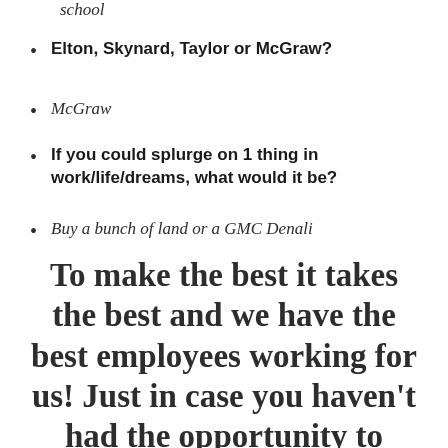school
Elton, Skynard, Taylor or McGraw?
McGraw
If you could splurge on 1 thing in work/life/dreams, what would it be?
Buy a bunch of land or a GMC Denali
To make the best it takes the best and we have the best employees working for us!  Just in case you haven't had the opportunity to meet the